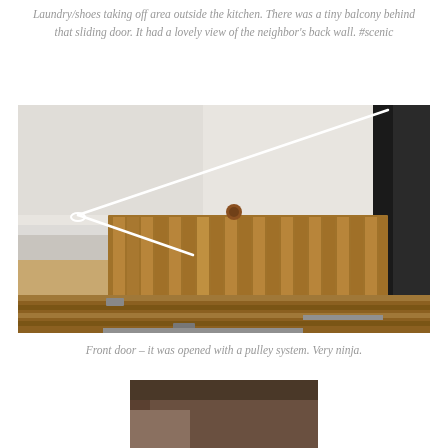Laundry/shoes taking off area outside the kitchen. There was a tiny balcony behind that sliding door. It had a lovely view of the neighbor's back wall. #scenic
[Figure (photo): Interior photo showing a wooden slatted door/hatch mechanism at floor level with a rope pulley system. The wooden structure has horizontal slats and is elevated with metal hardware. Light wood flooring visible on the left, white walls in the background.]
Front door – it was opened with a pulley system. Very ninja.
[Figure (photo): Partial photo visible at the bottom of the page, cropped.]